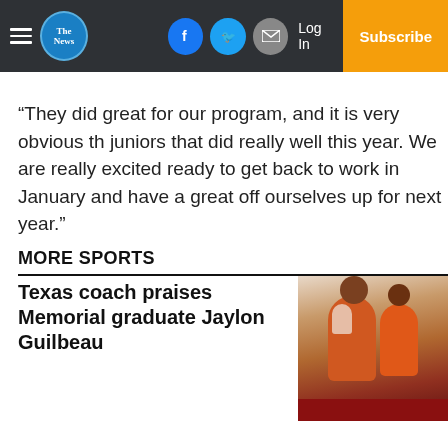The News — navbar with hamburger menu, logo, Facebook, Twitter, Email social buttons, Log In, Subscribe
“They did great for our program, and it is very obvious th juniors that did really well this year. We are really excited ready to get back to work in January and have a great off ourselves up for next year.”
MORE SPORTS
Texas coach praises Memorial graduate Jaylon Guilbeau
[Figure (photo): Photo of people in orange Texas Longhorns shirts at what appears to be a signing or press event, with a red table in the foreground]